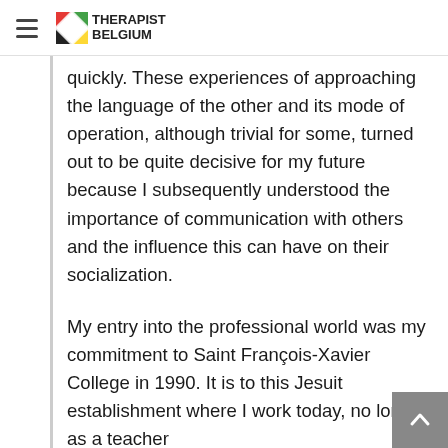THERAPIST BELGIUM
quickly. These experiences of approaching the language of the other and its mode of operation, although trivial for some, turned out to be quite decisive for my future because I subsequently understood the importance of communication with others and the influence this can have on their socialization.
My entry into the professional world was my commitment to Saint François-Xavier College in 1990. It is to this Jesuit establishment where I work today, no longer as a teacher